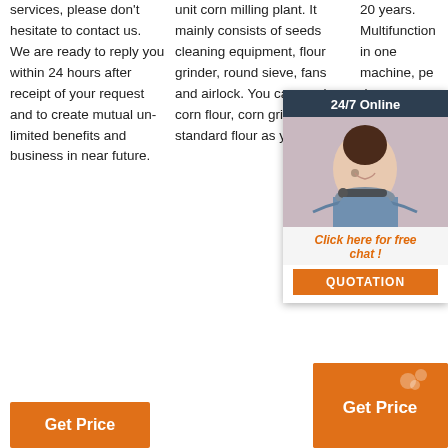services, please don't hesitate to contact us. We are ready to reply you within 24 hours after receipt of your request and to create mutual un-limited benefits and business in near future.
unit corn milling plant. It mainly consists of seeds cleaning equipment, flour grinder, round sieve, fans and airlock. You can produce corn flour, corn grits and standard flour as you need.
20 years. Multifunction in one machine, pe... de... sk... re... gr... gr... cl... an... or...
[Figure (other): 24/7 Online chat popup with customer service representative photo, 'Click here for free chat!' text, and QUOTATION button]
[Figure (other): Get Price orange button with icon]
Get Price
Get Price